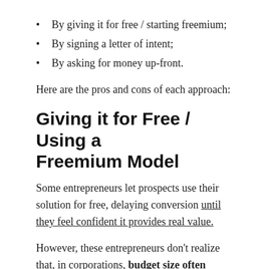By giving it for free / starting freemium;
By signing a letter of intent;
By asking for money up-front.
Here are the pros and cons of each approach:
Giving it for Free / Using a Freemium Model
Some entrepreneurs let prospects use their solution for free, delaying conversion until they feel confident it provides real value.
However, these entrepreneurs don't realize that, in corporations, budget size often dictates attention. When the solution is free, the problem seems less significant.